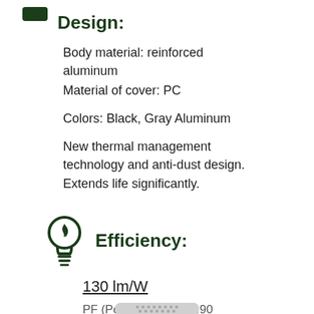Design:
Body material: reinforced aluminum
Material of cover: PC
Colors: Black, Gray Aluminum
New thermal management technology and anti-dust design. Extends life significantly.
Efficiency:
130 lm/W
PF (Power factor) > 0.90